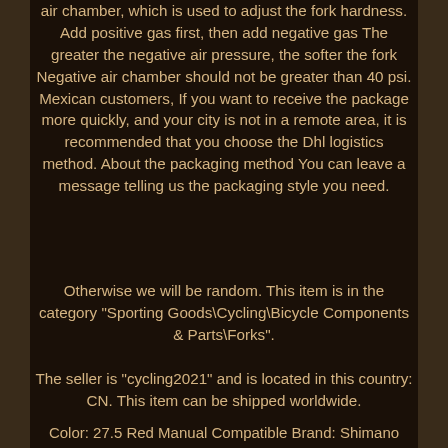air chamber, which is used to adjust the fork hardness. Add positive gas first, then add negative gas The greater the negative air pressure, the softer the fork Negative air chamber should not be greater than 40 psi. Mexican customers, If you want to receive the package more quickly, and your city is not in a remote area, it is recommended that you choose the Dhl logistics method. About the packaging method You can leave a message telling us the packaging style you need.
Otherwise we will be random. This item is in the category "Sporting Goods\Cycling\Bicycle Components & Parts\Forks".
The seller is "cycling2021" and is located in this country: CN. This item can be shipped worldwide.
Color: 27.5 Red Manual Compatible Brand: Shimano Wheel Size: 26in / 27.5 in / 29 in Suspension Travel: 110 mm Custom Bundle: No